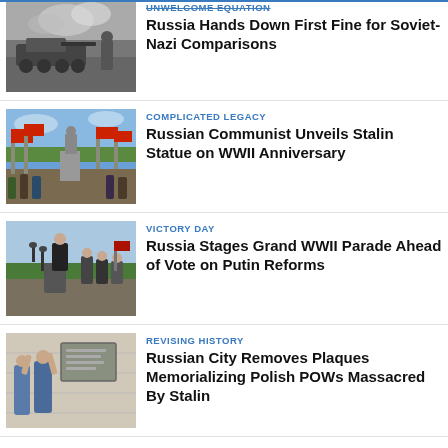[Figure (photo): Black and white photo of tank/military scene with smoke]
UNWELCOME EQUATION
Russia Hands Down First Fine for Soviet-Nazi Comparisons
[Figure (photo): Crowd with red flags, statue unveiled outdoors]
COMPLICATED LEGACY
Russian Communist Unveils Stalin Statue on WWII Anniversary
[Figure (photo): Man speaking at podium with microphones outdoors]
VICTORY DAY
Russia Stages Grand WWII Parade Ahead of Vote on Putin Reforms
[Figure (photo): Workers removing plaques from a building wall]
REVISING HISTORY
Russian City Removes Plaques Memorializing Polish POWs Massacred By Stalin